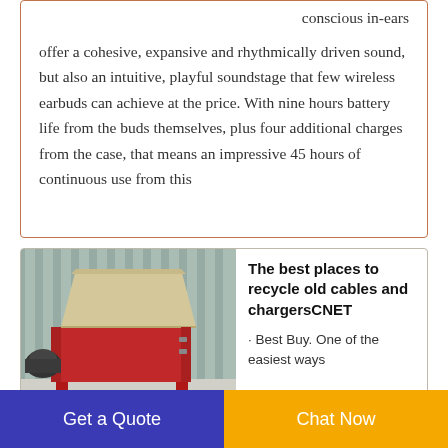conscious in-ears offer a cohesive, expansive and rhythmically driven sound, but also an intuitive, playful soundstage that few wireless earbuds can achieve at the price. With nine hours battery life from the buds themselves, plus four additional charges from the case, that means an impressive 45 hours of continuous use from this
[Figure (photo): Industrial red cable shredding machine with a beige hopper on top, black motor on the side, on a concrete floor in front of a corrugated metal wall]
The best places to recycle old cables and chargersCNET
· Best Buy. One of the easiest ways